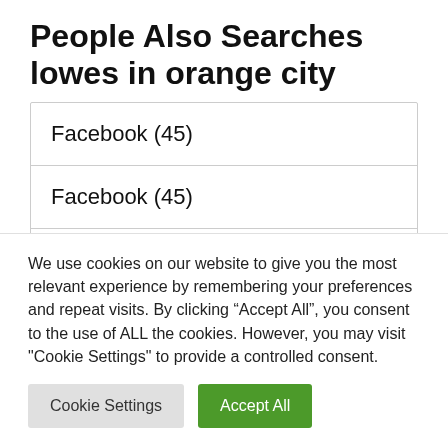People Also Searches lowes in orange city
Facebook (45)
Facebook (45)
lowe’s home improvement garden city
lowe’s orange park florida
We use cookies on our website to give you the most relevant experience by remembering your preferences and repeat visits. By clicking “Accept All”, you consent to the use of ALL the cookies. However, you may visit "Cookie Settings" to provide a controlled consent.
Cookie Settings | Accept All